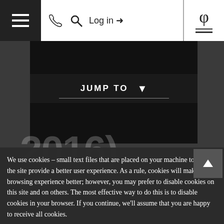≡ [phone] [search] Log in → [phi logo]
[Figure (screenshot): Navigation bar with hamburger menu, phone icon, search icon, Log in arrow link, and phi symbol logo on right]
[Figure (screenshot): JUMP TO dropdown bar with underline and dropdown arrow on dark background]
2016)
per Ordinary Share
Prospectus") stated:
The objective of the Fund is
to invest capital...
We use cookies – small text files that are placed on your machine to help the site provide a better user experience. As a rule, cookies will make your browsing experience better; however, you may prefer to disable cookies on this site and on others. The most effective way to do this is to disable cookies in your browser. If you continue, we'll assume that you are happy to receive all cookies.
CONTINUE
Find out more